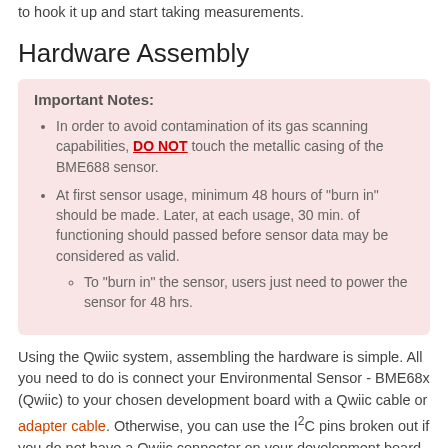to hook it up and start taking measurements.
Hardware Assembly
Important Notes: In order to avoid contamination of its gas scanning capabilities, DO NOT touch the metallic casing of the BME688 sensor. At first sensor usage, minimum 48 hours of "burn in" should be made. Later, at each usage, 30 min. of functioning should passed before sensor data may be considered as valid. To "burn in" the sensor, users just need to power the sensor for 48 hrs.
Using the Qwiic system, assembling the hardware is simple. All you need to do is connect your Environmental Sensor - BME68x (Qwiic) to your chosen development board with a Qwiic cable or adapter cable. Otherwise, you can use the I2C pins broken out if you do not have a Qwiic connector on your development board or if you do not want to use a Qwiic connection. If you are not using a Qwiic-enabled board, make sure your input voltage and logic are